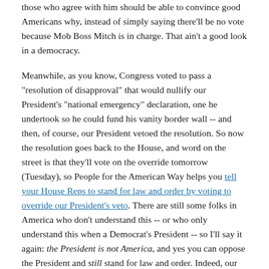those who agree with him should be able to convince good Americans why, instead of simply saying there'll be no vote because Mob Boss Mitch is in charge. That ain't a good look in a democracy.
Meanwhile, as you know, Congress voted to pass a "resolution of disapproval" that would nullify our President's "national emergency" declaration, one he undertook so he could fund his vanity border wall -- and then, of course, our President vetoed the resolution. So now the resolution goes back to the House, and word on the street is that they'll vote on the override tomorrow (Tuesday), so People for the American Way helps you tell your House Reps to stand for law and order by voting to override our President's veto. There are still some folks in America who don't understand this -- or who only understand this when a Democrat's President -- so I'll say it again: the President is not America, and yes you can oppose the President and still stand for law and order. Indeed, our Founders anticipated that good Americans would have to do this again and again. And if our House Reps fail to do our will here, shame will find them no matter where they run.
Finally, Special Counsel Robert Mueller has delivered his report on alleged collusion by our President with Russia during the 2016 campaign (and related matters) to our Attorney General, and now both Public Citizen and People for the American Way help you demand that the Mueller report be made public. We paid for the damn thing, after all, and even Dastardly Devin Nunez has said the report should be made public, so what's the argument against it? "I won so I can